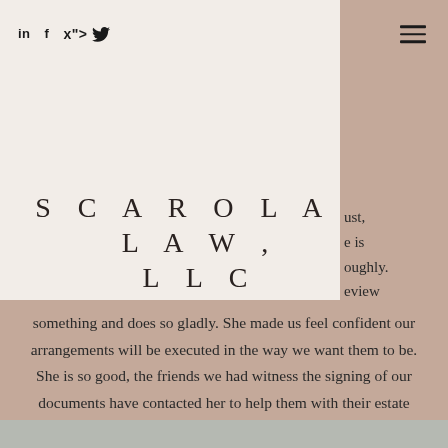in  f  🐦  ☰
SCAROLA LAW, LLC
ust, e is oughly. eview
something and does so gladly. She made us feel confident our arrangements will be executed in the way we want them to be. She is so good, the friends we had witness the signing of our documents have contacted her to help them with their estate planning, wills, etc."
””